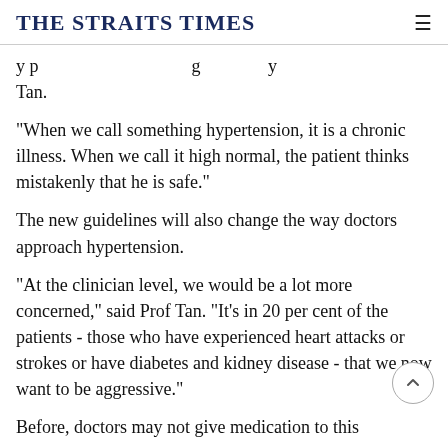THE STRAITS TIMES
y p g y Tan.
"When we call something hypertension, it is a chronic illness. When we call it high normal, the patient thinks mistakenly that he is safe."
The new guidelines will also change the way doctors approach hypertension.
"At the clinician level, we would be a lot more concerned," said Prof Tan. "It's in 20 per cent of the patients - those who have experienced heart attacks or strokes or have diabetes and kidney disease - that we now want to be aggressive."
Before, doctors may not give medication to this